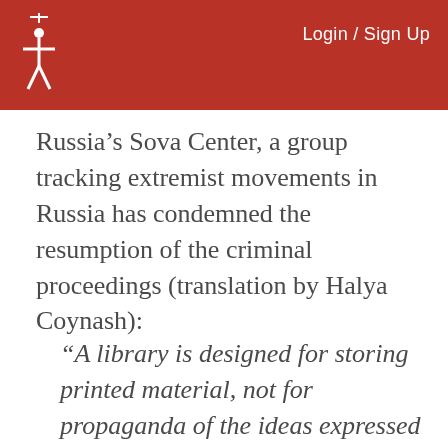Login / Sign Up
Russia’s Sova Center, a group tracking extremist movements in Russia has condemned the resumption of the criminal proceedings (translation by Halya Coynash):
“A library is designed for storing printed material, not for propaganda of the ideas expressed in such material. The point of its